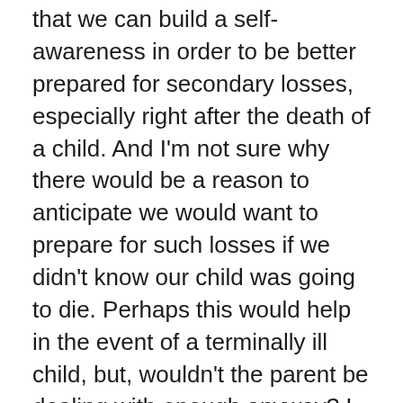that we can build a self-awareness in order to be better prepared for secondary losses, especially right after the death of a child. And I'm not sure why there would be a reason to anticipate we would want to prepare for such losses if we didn't know our child was going to die. Perhaps this would help in the event of a terminally ill child, but, wouldn't the parent be dealing with enough anyway? I don't know. Sometimes there's just no way to prepare for certain things.
I don't think it would have been helpful to me if someone had come up to me early on in this grief journey, right after Jason died, and said to me, “Just wanted you to be aware that you will probably experience additional losses in your life besides the loss/death of Jason, so you had better prepare your self for it.” I was so overwhelmed by Jason's death, in and of itself, that I don't think I could have